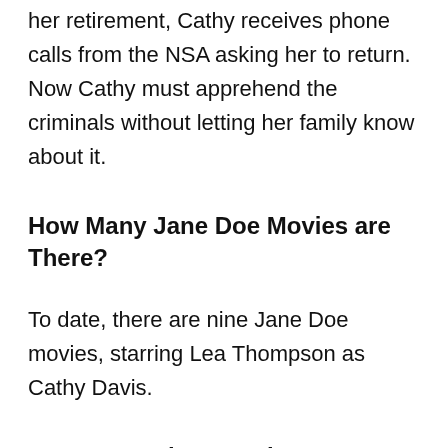her retirement, Cathy receives phone calls from the NSA asking her to return. Now Cathy must apprehend the criminals without letting her family know about it.
How Many Jane Doe Movies are There?
To date, there are nine Jane Doe movies, starring Lea Thompson as Cathy Davis.
Do you Need to Watch Jane Doe Movies in Order?
Jane Doe's films are linked and set in chronological